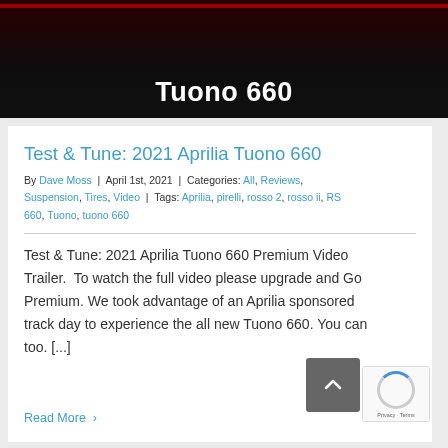[Figure (photo): Motorcycle banner image with dark background showing partial view of a red-accented motorcycle]
Tuono 660
Test & Tune: 2021 Aprilia Tuono 660
By Dave Moss | April 1st, 2021 | Categories: All, Reviews, Suspension, Tires, Video | Tags: Aprilia, pirelli, rosso 2, rosso ii, RS 660, Tuono, tuono 660
Test & Tune: 2021 Aprilia Tuono 660 Premium Video Trailer.  To watch the full video please upgrade and Go Premium. We took advantage of an Aprilia sponsored track day to experience the all new Tuono 660. You can too. [...]
Read More >